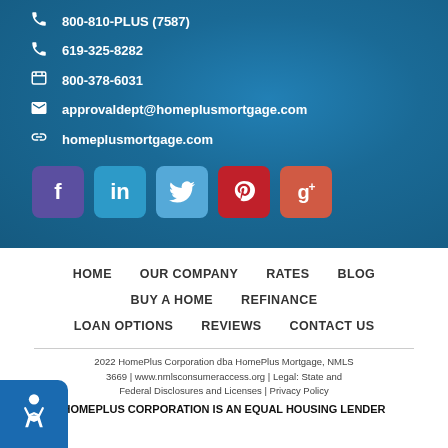800-810-PLUS (7587)
619-325-8282
800-378-6031
approvaldept@homeplusmortgage.com
homeplusmortgage.com
[Figure (infographic): Row of 5 social media icon buttons: Facebook (purple), LinkedIn (blue), Twitter (light blue), Yelp (red), Google+ (orange-red)]
HOME   OUR COMPANY   RATES   BLOG   BUY A HOME   REFINANCE   LOAN OPTIONS   REVIEWS   CONTACT US
2022 HomePlus Corporation dba HomePlus Mortgage, NMLS 3669 | www.nmlsconsumeraccess.org | Legal: State and Federal Disclosures and Licenses | Privacy Policy
HOMEPLUS CORPORATION IS AN EQUAL HOUSING LENDER